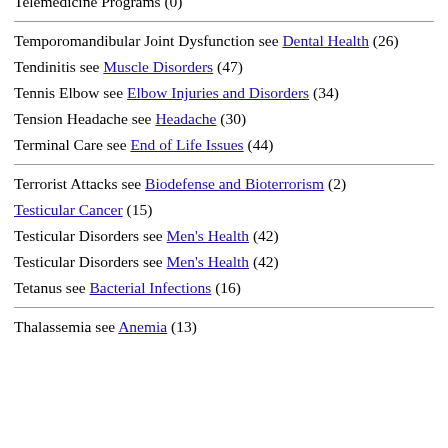Teenage Pregnancy (36)
Teens' Page see Teen Health (97)
Telemedicine Programs (0)
Temporomandibular Joint Dysfunction see Dental Health (26)
Tendinitis see Muscle Disorders (47)
Tennis Elbow see Elbow Injuries and Disorders (34)
Tension Headache see Headache (30)
Terminal Care see End of Life Issues (44)
Terrorist Attacks see Biodefense and Bioterrorism (2)
Testicular Cancer (15)
Testicular Disorders see Men's Health (42)
Testicular Disorders see Men's Health (42)
Tetanus see Bacterial Infections (16)
Thalassemia see Anemia (13)